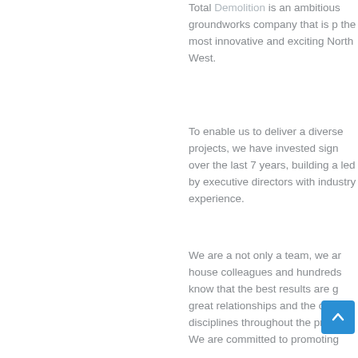Total Demolition is an ambitious groundworks company that is p the most innovative and exciting North West.
To enable us to deliver a diverse projects, we have invested sign over the last 7 years, building a led by executive directors with industry experience.
We are a not only a team, we ar house colleagues and hundred know that the best results are g great relationships and the com disciplines throughout the proje
We are committed to promoting